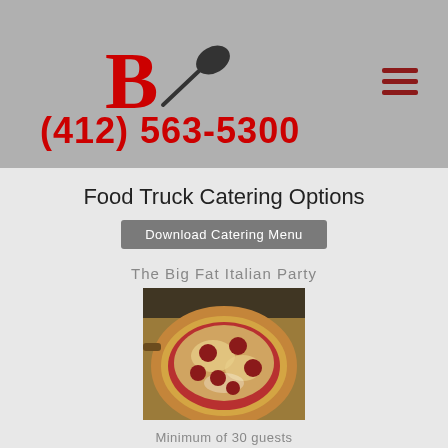[Figure (logo): Red bold letter B with a pizza paddle/peel icon forming a restaurant logo]
(412) 563-5300
[Figure (illustration): Hamburger menu icon (three horizontal lines) in dark red/brown color]
Food Truck Catering Options
Download Catering Menu
The Big Fat Italian Party
[Figure (photo): A pepperoni pizza on a wooden pizza peel/paddle, viewed from above, with melted cheese and tomato sauce]
Minimum of 30 guests